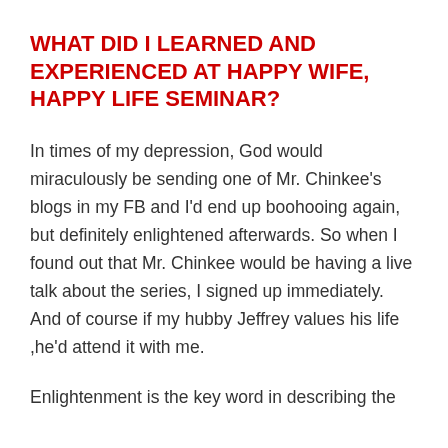WHAT DID I LEARNED AND EXPERIENCED AT HAPPY WIFE, HAPPY LIFE SEMINAR?
In times of my depression, God would miraculously be sending one of Mr. Chinkee's blogs in my FB and I'd end up boohooing again, but definitely enlightened afterwards. So when I found out that Mr. Chinkee would be having a live talk about the series, I signed up immediately. And of course if my hubby Jeffrey values his life ,he'd attend it with me.
Enlightenment is the key word in describing the